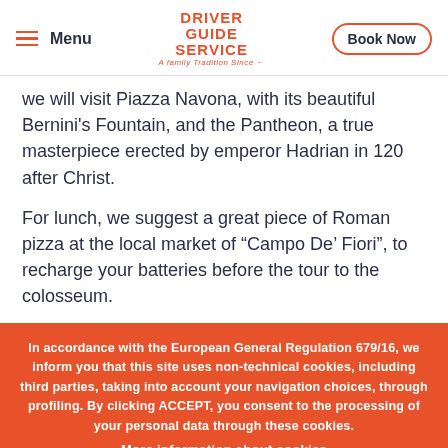Menu | Driver Guide Service 89 | A family Tradition Since | Book Now
we will visit Piazza Navona, with its beautiful Bernini's Fountain, and the Pantheon, a true masterpiece erected by emperor Hadrian in 120 after Christ.
For lunch, we suggest a great piece of Roman pizza at the local market of “Campo De’ Fiori”, to recharge your batteries before the tour to the colosseum.
In accordance with the European General Regulation 679/16, we inform you that this site uses non-technical cookies, including third parties, taking into account your navigation choices, through profiling. By clicking ACCEPT, you consent to the processing of your personal data through these cookies. More information about cookies
Accept